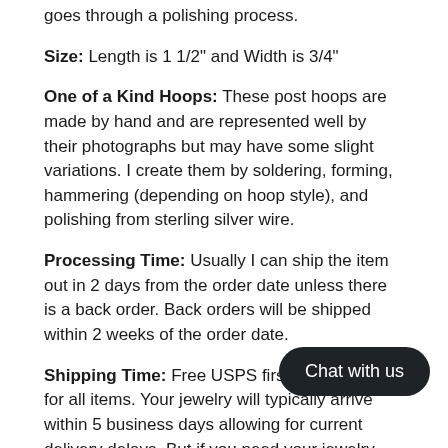goes through a polishing process.
Size: Length is 1 1/2" and Width is 3/4"
One of a Kind Hoops: These post hoops are made by hand and are represented well by their photographs but may have some slight variations. I create them by soldering, forming, hammering (depending on hoop style), and polishing from sterling silver wire.
Processing Time: Usually I can ship the item out in 2 days from the order date unless there is a back order. Back orders will be shipped within 2 weeks of the order date.
Shipping Time: Free USPS first class shipping for all items. Your jewelry will typically arrive within 5 business days allowing for current delivery delays. But if you need your jewelry sooner, faster delivery rates are a
Return Policy: I accept returns except for custom orders and gift cards on the following conditions: